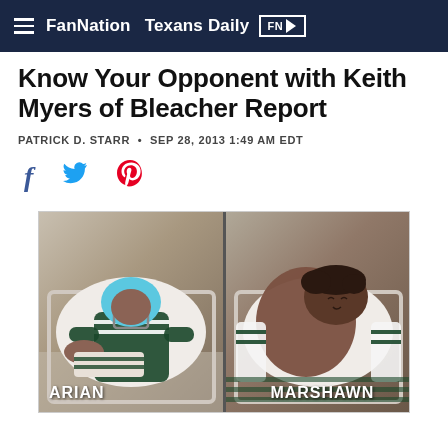FanNation  Texans Daily FN
Know Your Opponent with Keith Myers of Bleacher Report
PATRICK D. STARR • SEP 28, 2013 1:49 AM EDT
[Figure (other): Social share icons: Facebook, Twitter, Pinterest]
[Figure (photo): Split image showing two babies in hospital bassinets wearing football gear, labeled ARIAN (left) and MARSHAWN (right)]